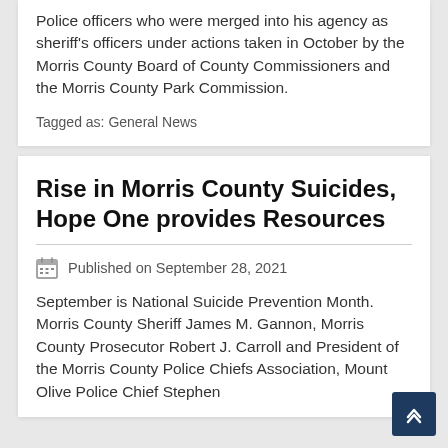Police officers who were merged into his agency as sheriff's officers under actions taken in October by the Morris County Board of County Commissioners and the Morris County Park Commission.
Tagged as: General News
Rise in Morris County Suicides, Hope One provides Resources
Published on September 28, 2021
September is National Suicide Prevention Month. Morris County Sheriff James M. Gannon, Morris County Prosecutor Robert J. Carroll and President of the Morris County Police Chiefs Association, Mount Olive Police Chief Stephen